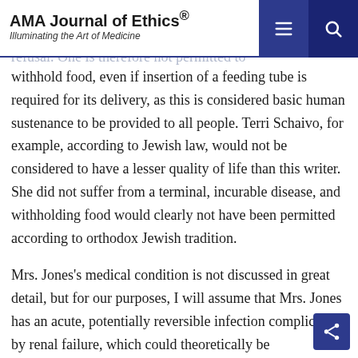AMA Journal of Ethics® — Illuminating the Art of Medicine
oxygen (not necessarily intubation) should be provided to all patients and are not subject to refusal. One is therefore not permitted to withhold food, even if insertion of a feeding tube is required for its delivery, as this is considered basic human sustenance to be provided to all people. Terri Schaivo, for example, according to Jewish law, would not be considered to have a lesser quality of life than this writer. She did not suffer from a terminal, incurable disease, and withholding food would clearly not have been permitted according to orthodox Jewish tradition.
Mrs. Jones's medical condition is not discussed in great detail, but for our purposes, I will assume that Mrs. Jones has an acute, potentially reversible infection complicated by renal failure, which could theoretically be